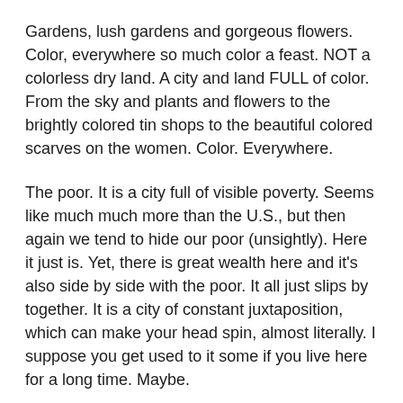Gardens, lush gardens and gorgeous flowers. Color, everywhere so much color a feast. NOT a colorless dry land. A city and land FULL of color. From the sky and plants and flowers to the brightly colored tin shops to the beautiful colored scarves on the women. Color. Everywhere.
The poor. It is a city full of visible poverty. Seems like much much more than the U.S., but then again we tend to hide our poor (unsightly). Here it just is. Yet, there is great wealth here and it's also side by side with the poor. It all just slips by together. It is a city of constant juxtaposition, which can make your head spin, almost literally. I suppose you get used to it some if you live here for a long time. Maybe.
The countryside. Beautiful. Breathtaking. As far as the…